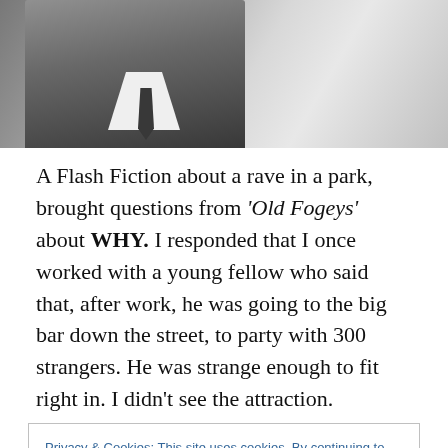[Figure (photo): Black and white photograph of a man in a suit with white collar and tie, cropped showing neck/shoulder area]
A Flash Fiction about a rave in a park, brought questions from ‘Old Fogeys’ about WHY.  I responded that I once worked with a young fellow who said that, after work, he was going to the big bar down the street, to party with 300 strangers. He was strange enough to fit right in. I didn’t see the attraction.
Privacy & Cookies: This site uses cookies. By continuing to use this website, you agree to their use.
To find out more, including how to control cookies, see here: Cookie Policy
Close and accept
(and/or drugged out) fool of yourself in anonymity.  A